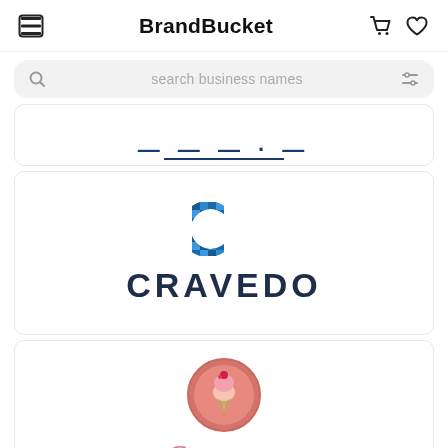BrandBucket
search business names
[Figure (logo): Partially visible brand logo at top, cut off]
[Figure (logo): CRAVEDO logo: blue checkered C icon above bold dark navy text CRAVEDO]
[Figure (logo): Craveasy logo: pink circle with ice cream cone icon, partially visible pink cursive text Craveasy below]